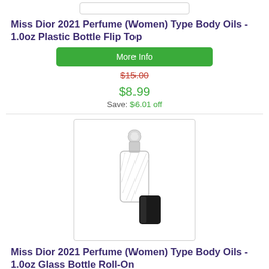Miss Dior 2021 Perfume (Women) Type Body Oils - 1.0oz Plastic Bottle Flip Top
More Info
$15.00
$8.99
Save: $6.01 off
[Figure (photo): Clear glass roll-on bottle with silver roller ball and separate black cap, photographed on white background]
Miss Dior 2021 Perfume (Women) Type Body Oils - 1.0oz Glass Bottle Roll-On
More Info
$15.00